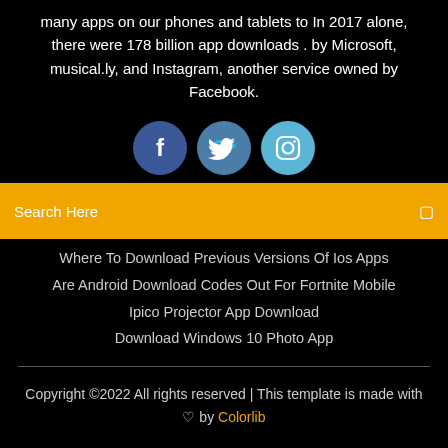many apps on our phones and tablets to In 2017 alone, there were 178 billion app downloads . by Microsoft, musical.ly, and Instagram, another service owned by Facebook.
[Figure (illustration): Three social media icons: Facebook (dark blue circle with 'f'), Twitter (medium blue circle with bird icon), Instagram (light blue circle with camera icon)]
Search Here
Where To Download Previous Versions Of Ios Apps
Are Android Download Codes Out For Fortnite Mobile
Ipico Projector App Download
Download Windows 10 Photo App
Copyright ©2022 All rights reserved | This template is made with ♡ by Colorlib